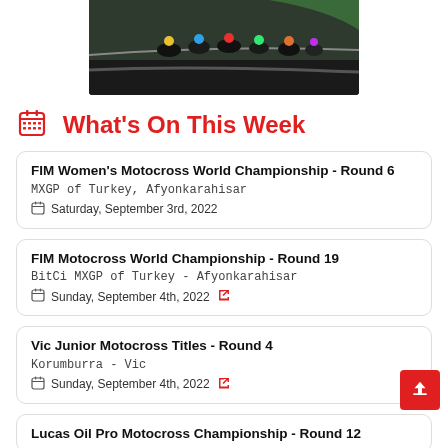[Figure (photo): Motorcycle race photo showing multiple riders on a track, viewed from behind/side angle]
What's On This Week
FIM Women's Motocross World Championship - Round 6
MXGP of Turkey, Afyonkarahisar
Saturday, September 3rd, 2022
FIM Motocross World Championship - Round 19
BitCi MXGP of Turkey - Afyonkarahisar
Sunday, September 4th, 2022
Vic Junior Motocross Titles - Round 4
Korumburra - Vic
Sunday, September 4th, 2022
Lucas Oil Pro Motocross Championship - Round 12